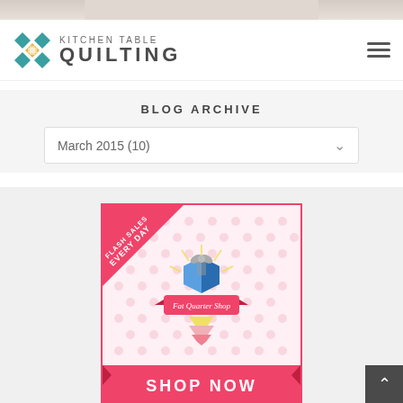[Figure (screenshot): Top image strip - partial quilt or fabric image at top of page]
[Figure (logo): Kitchen Table Quilting logo with quilting block icon and text]
BLOG ARCHIVE
March 2015 (10)
[Figure (illustration): Fat Quarter Shop advertisement banner with flash sales triangle badge, quilting gift box logo, and SHOP NOW banner in pink]